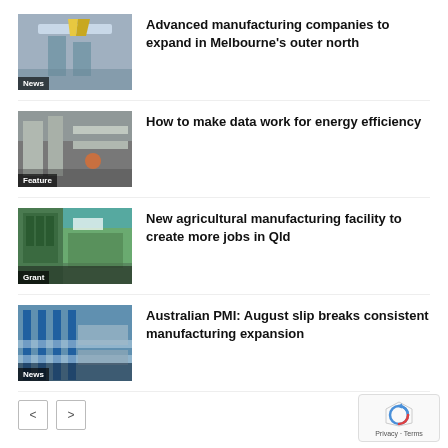[Figure (photo): Manufacturing facility with yellow crane equipment, labeled News]
Advanced manufacturing companies to expand in Melbourne's outer north
[Figure (photo): Industrial kitchen or lab interior, labeled Feature]
How to make data work for energy efficiency
[Figure (photo): Green agricultural equipment outside Morrissey building, labeled Grant]
New agricultural manufacturing facility to create more jobs in Qld
[Figure (photo): Factory floor with blue columns and machinery, labeled News]
Australian PMI: August slip breaks consistent manufacturing expansion